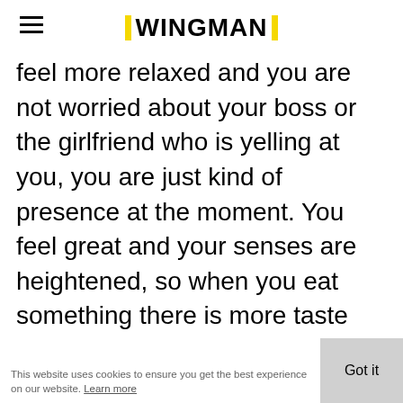WINGMAN
feel more relaxed and you are not worried about your boss or the girlfriend who is yelling at you, you are just kind of presence at the moment. You feel great and your senses are heightened, so when you eat something there is more taste and your vision feels sharper. But that's all the primary actions of cannabis. Secondary reactions are almost the opposite. One of the secondary actions of cannabis is completely opposite to the focusing effects. It's kind of scatteredness of thinking and there is an attention deficit that comes in from the
This website uses cookies to ensure you get the best experience on our website. Learn more